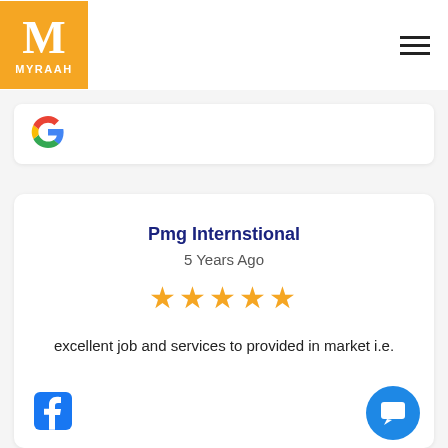[Figure (logo): Myraah orange logo with M letter and MYRAAH text]
[Figure (logo): Google G logo]
Pmg Internstional
5 Years Ago
[Figure (other): 5 orange stars rating]
excellent job and services to provided in market i.e.
[Figure (logo): Facebook logo icon]
[Figure (other): Blue circular chat/message button]